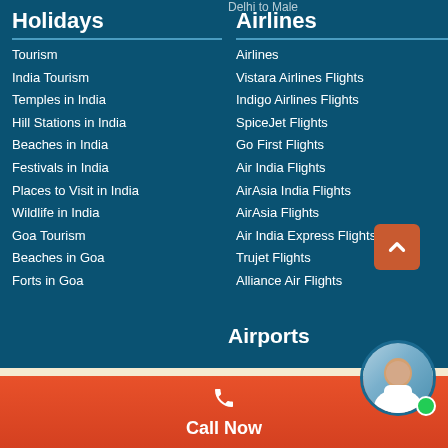Delhi to Male
Holidays
Tourism
India Tourism
Temples in India
Hill Stations in India
Beaches in India
Festivals in India
Places to Visit in India
Wildlife in India
Goa Tourism
Beaches in Goa
Forts in Goa
Airlines
Airlines
Vistara Airlines Flights
Indigo Airlines Flights
SpiceJet Flights
Go First Flights
Air India Flights
AirAsia India Flights
AirAsia Flights
Air India Express Flights
Trujet Flights
Alliance Air Flights
Airports
Call Now